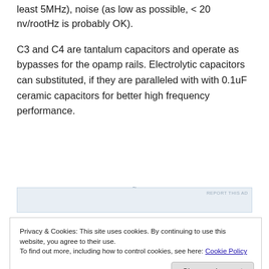least 5MHz), noise (as low as possible, < 20 nv/rootHz is probably OK).
C3 and C4 are tantalum capacitors and operate as bypasses for the opamp rails. Electrolytic capacitors can substituted, if they are paralleled with with 0.1uF ceramic capacitors for better high frequency performance.
[Figure (other): Advertisement placeholder area with 'REPORT THIS AD' label]
Privacy & Cookies: This site uses cookies. By continuing to use this website, you agree to their use.
To find out more, including how to control cookies, see here: Cookie Policy